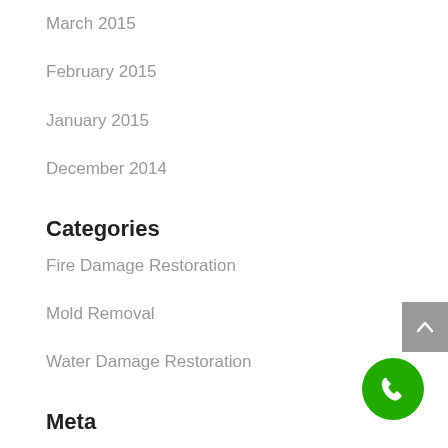March 2015
February 2015
January 2015
December 2014
Categories
Fire Damage Restoration
Mold Removal
Water Damage Restoration
Meta
Log in
Entries feed